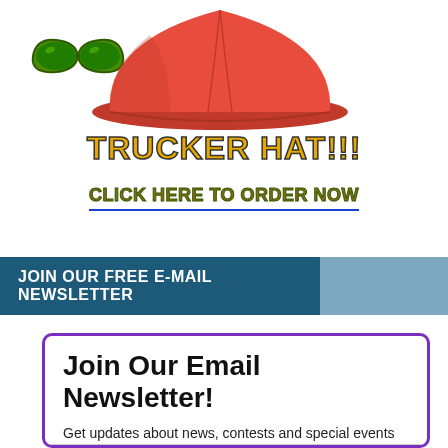[Figure (illustration): Red trucker hat with green sunglasses icon in top-left corner]
TRUCKER HAT!!!
CLICK HERE TO ORDER NOW
JOIN OUR FREE E-MAIL NEWSLETTER
Join Our Email Newsletter!
Get updates about news, contests and special events